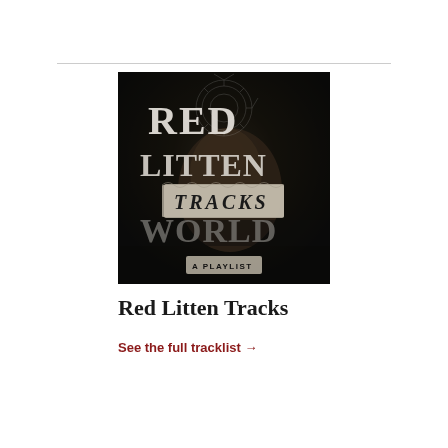[Figure (illustration): Black and white album/playlist cover artwork titled 'Red Litten Tracks - A Playlist'. Shows large serif text 'RED LITTEN' at top, with a torn paper label reading 'TRACKS' overlaid in the middle, and 'WORLD' partially visible beneath. A smaller label reads 'A PLAYLIST' at the bottom. Dark moody background with a face partially visible and circular compass-like design in upper area.]
Red Litten Tracks
See the full tracklist →